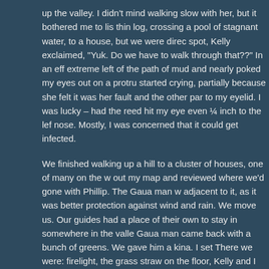up the valley. I didn't mind walking slow with her, but it bothered me to lis thin log, crossing a pool of stagnant water, to a house, but we were direc spot, Kelly exclaimed, "Yuk. Do we have to walk through that??" In an eff extreme left of the path of mud and nearly poked my eyes out on a protru started crying, partially because she felt it was her fault and the other par to my eyelid. I was lucky – had the reed hit my eye even ¼ inch to the lef nose. Mostly, I was concerned that it could get infected.
We finished walking up a hill to a cluster of houses, one of many on the w out my map and reviewed where we'd gone with Phillip. The Gaua man w adjacent to it, as it was better protection against wind and rain. We move us. Our guides had a place of their own to stay in somewhere in the valle Gaua man came back with a bunch of greens. We gave him a kina. I set There we were: firelight, the grass straw on the floor, Kelly and I alone in us would come back and check that everything was all right. He would lig tobacco. We offered him some soup. We ate well and then slept.
Day 3 Gaua to Tekin via Oksapmin
Tuesday May 17, 1983